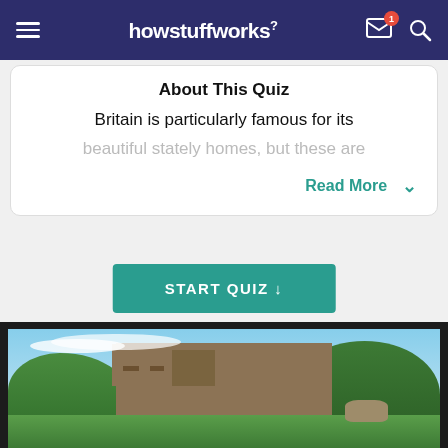howstuffworks
About This Quiz
Britain is particularly famous for its beautiful stately homes, but these are
Read More
START QUIZ ↓
[Figure (photo): Photograph of a British castle (likely Alnwick or similar) with stone towers, surrounded by green trees, under a blue sky with scattered clouds. A stone lion statue is visible in the lower right.]